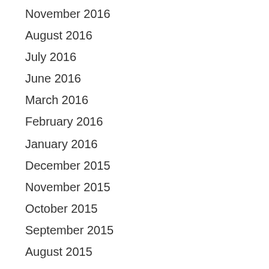November 2016
August 2016
July 2016
June 2016
March 2016
February 2016
January 2016
December 2015
November 2015
October 2015
September 2015
August 2015